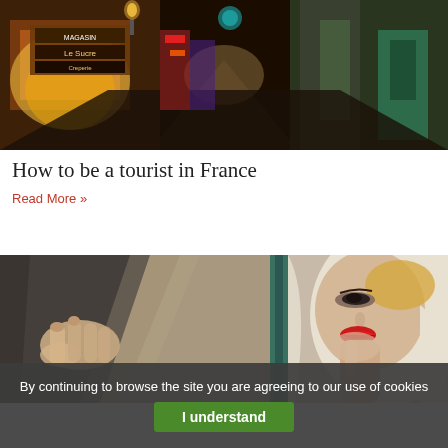[Figure (photo): Narrow European street at night with warm glowing shop signs, stone buildings, and a crepe shop visible on the left side. Illuminated signs including 'Magasin Le Sucre' and 'Creperie'.]
How to be a tourist in France
Read More »
[Figure (photo): Close-up painting in Art Deco style showing a woman with red lips wrapped in white fabric, hands visible on the left side. A green vertical divider separates the composition into sections.]
By continuing to browse the site you are agreeing to our use of cookies
I understand